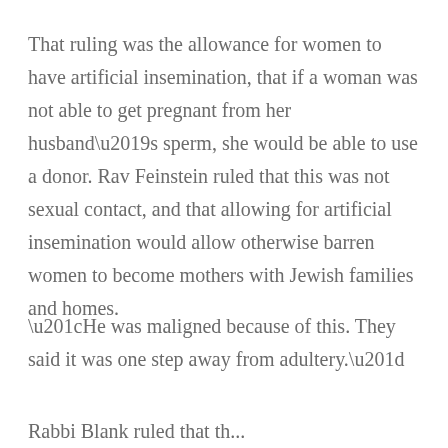That ruling was the allowance for women to have artificial insemination, that if a woman was not able to get pregnant from her husband’s sperm, she would be able to use a donor. Rav Feinstein ruled that this was not sexual contact, and that allowing for artificial insemination would allow otherwise barren women to become mothers with Jewish families and homes.
“He was maligned because of this. They said it was one step away from adultery.”
Rabbi Blank ruled that the...